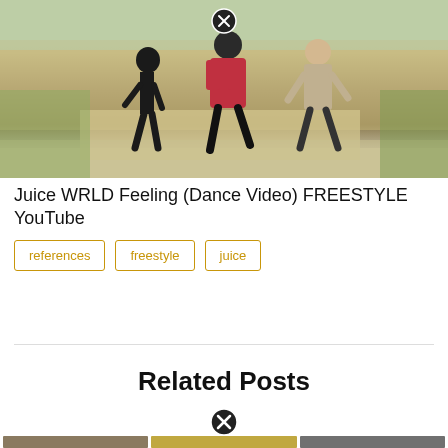[Figure (photo): Outdoor dance video screenshot showing three people dancing on a path in a park setting, with trees and grass in background. A close button (X in circle) appears at top center of the image.]
Juice WRLD Feeling (Dance Video) FREESTYLE YouTube
references
freestyle
juice
Related Posts
[Figure (photo): Partially visible thumbnail images at bottom of page below Related Posts section, with a close button (X in circle) visible above them.]